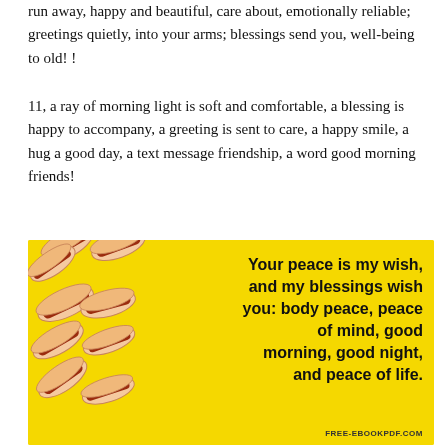run away, happy and beautiful, care about, emotionally reliable; greetings quietly, into your arms; blessings send you, well-being to old! !
11, a ray of morning light is soft and comfortable, a blessing is happy to accompany, a greeting is sent to care, a happy smile, a hug a good day, a text message friendship, a word good morning friends!
[Figure (infographic): Yellow background card with hot dog illustrations on the left side and bold black text reading: Your peace is my wish, and my blessings wish you: body peace, peace of mind, good morning, good night, and peace of life. FREE-EBOOKPDF.COM at bottom right.]